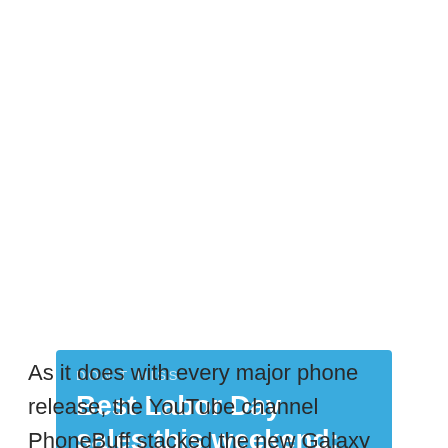[Figure (infographic): Blue banner with 'DON'T MISS' label and headline 'Best Labor Day sales this weekend: AirPods, home goods, free Echo Dot, Bose, Sony, more' with a right chevron arrow]
As it does with every major phone release, the YouTube channel PhoneBuff stacked the new Galaxy Note 10+ up against a reasonable competitor. In this case, it was the iPhone XS